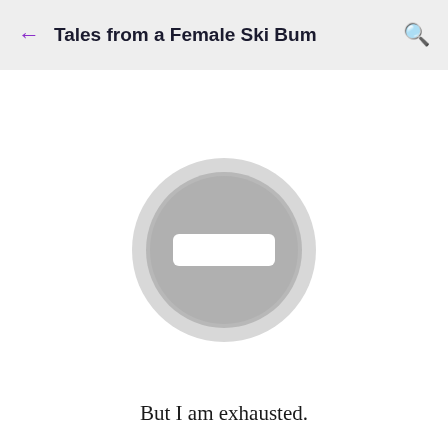← Tales from a Female Ski Bum 🔍
[Figure (illustration): A large grey circle with a thick light grey border ring, containing a white horizontal rectangle in the center — resembling a no-entry or blocked content icon.]
But I am exhausted.